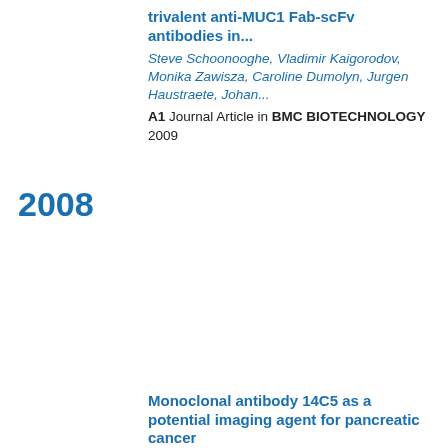trivalent anti-MUC1 Fab-scFv antibodies in...
Steve Schoonooghe, Vladimir Kaigorodov, Monika Zawisza, Caroline Dumolyn, Jurgen Haustraete, Johan...
A1 Journal Article in BMC BIOTECHNOLOGY
2009
2008
Monoclonal antibody 14C5 as a potential imaging agent for pancreatic cancer
Liesbet Vervoort, Ingrid Burvenich, Steven Staelens, Caroline Dumolyn, Els Waegememans, Steven Deleye,...
C3 Conference
2008
Monoclonal antibody 14C5 targets integrin alpha(v)beta(3)
Ingrid Burvenich, Steve Schoonooghe, Liesbet Vervoort...